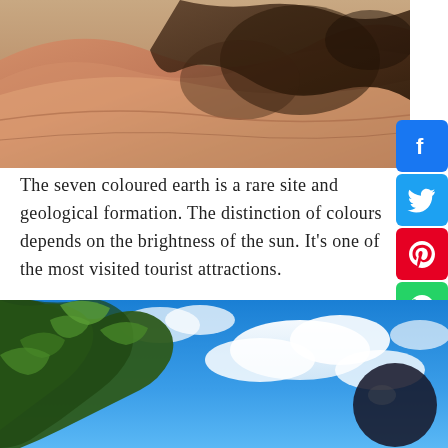[Figure (photo): Aerial view of seven coloured earth geological formation showing undulating sand dunes in shades of pink, orange, brown and tan with dark tree shadow overlay]
The seven coloured earth is a rare site and geological formation. The distinction of colours depends on the brightness of the sun. It's one of the most visited tourist attractions.
[Figure (photo): Looking up through green tree branches against a vivid blue sky with white clouds; a dark spherical object visible on the right side]